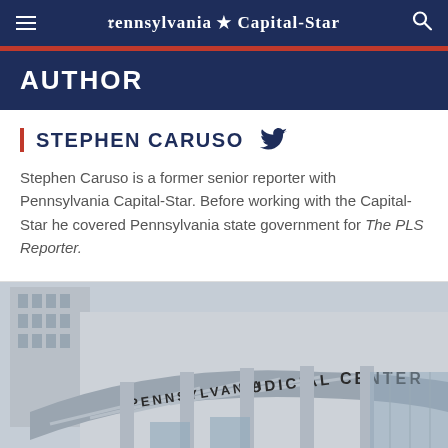Pennsylvania ★ Capital-Star
AUTHOR
STEPHEN CARUSO
Stephen Caruso is a former senior reporter with Pennsylvania Capital-Star. Before working with the Capital-Star he covered Pennsylvania state government for The PLS Reporter.
[Figure (photo): Exterior photo of the Pennsylvania Judicial Center building entrance showing the curved canopy with 'PENNSYLVANIA JUDICIAL CENTER' lettering]